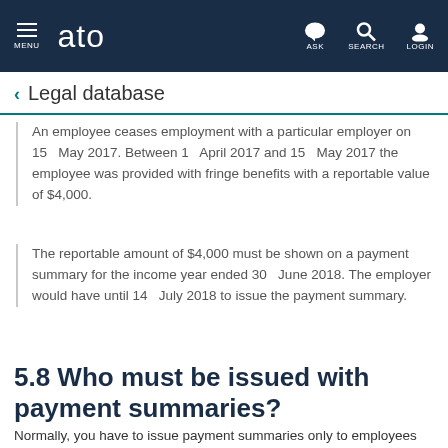MENU | ato | ASK | SEARCH | LOGIN
Legal database
An employee ceases employment with a particular employer on 15 May 2017. Between 1 April 2017 and 15 May 2017 the employee was provided with fringe benefits with a reportable value of $4,000.
The reportable amount of $4,000 must be shown on a payment summary for the income year ended 30 June 2018. The employer would have until 14 July 2018 to issue the payment summary.
5.8 Who must be issued with payment summaries?
Normally, you have to issue payment summaries only to employees